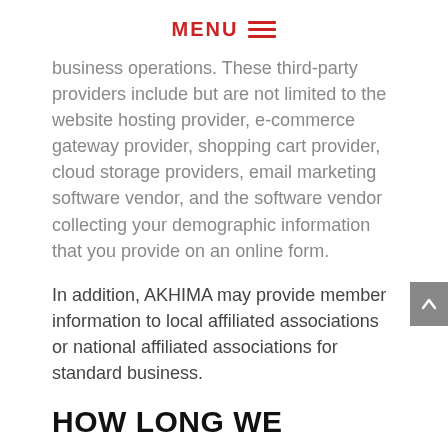MENU ☰
business operations. These third-party providers include but are not limited to the website hosting provider, e-commerce gateway provider, shopping cart provider, cloud storage providers, email marketing software vendor, and the software vendor collecting your demographic information that you provide on an online form.
In addition, AKHIMA may provide member information to local affiliated associations or national affiliated associations for standard business.
HOW LONG WE RETAIN